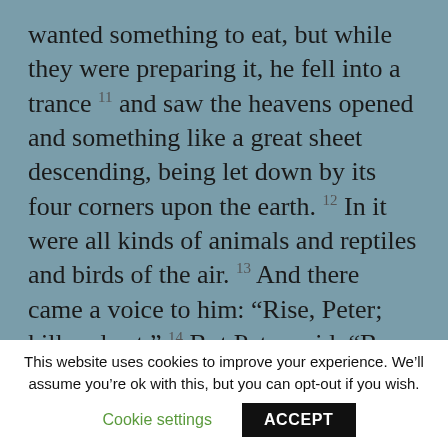wanted something to eat, but while they were preparing it, he fell into a trance 11 and saw the heavens opened and something like a great sheet descending, being let down by its four corners upon the earth. 12 In it were all kinds of animals and reptiles and birds of the air. 13 And there came a voice to him: “Rise, Peter; kill and eat.” 14 But Peter said, “By no means, Lord; for I have never eaten anything that is
This website uses cookies to improve your experience. We’ll assume you’re ok with this, but you can opt-out if you wish.
Cookie settings
ACCEPT